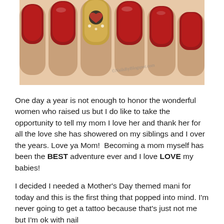[Figure (photo): Close-up photo of a hand with red nail polish, one accent nail with gold base and a heart/Mickey Mouse-style nail art design. A watermark is visible on the image.]
One day a year is not enough to honor the wonderful women who raised us but I do like to take the opportunity to tell my mom I love her and thank her for all the love she has showered on my siblings and I over the years. Love ya Mom!  Becoming a mom myself has been the BEST adventure ever and I love LOVE my babies!
I decided I needed a Mother's Day themed mani for today and this is the first thing that popped into mind. I'm never going to get a tattoo because that's just not me but I'm ok with nail